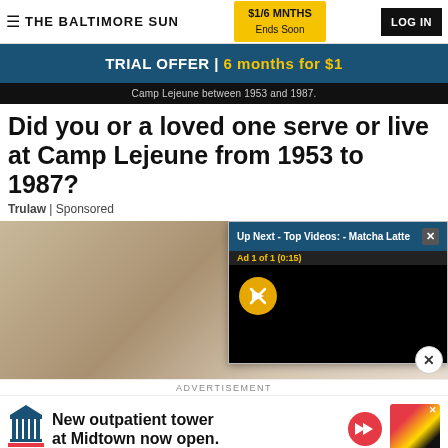≡ THE BALTIMORE SUN | $1/6 MNTHS Ends Soon | LOG IN
TRIAL OFFER | 6 months for $1
Camp Lejeune between 1953 and 1987.
Did you or a loved one serve or live at Camp Lejeune from 1953 to 1987?
Trulaw | Sponsored
[Figure (screenshot): Video popup overlay: Up Next - Top Videos: - Matcha Latte, Ad 1 of 1 (0:15), mute button, black video screen]
ADVERTISEMENT
[Figure (infographic): Bottom advertisement: New outpatient tower at Midtown now open. With hospital logo and red arrow button.]